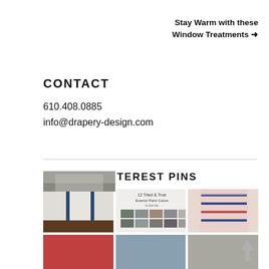Stay Warm with these Window Treatments →
CONTACT
610.408.0885
info@drapery-design.com
RECENT PINTEREST PINS
[Figure (photo): Grid of Pinterest pin thumbnail images showing window treatments and home decor]
↑